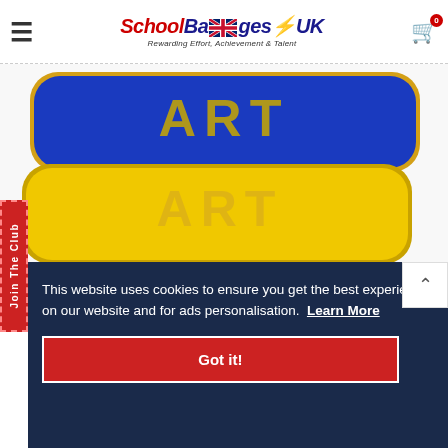School Badges UK — Rewarding Effort, Achievement & Talent
[Figure (photo): Two ART subject badges stacked — one navy blue and one yellow/gold, both with 'ART' text embossed in gold letters on rounded rectangular enamel badge format]
[Figure (other): Red vertical 'Join The Club' tab on left side]
This website uses cookies to ensure you get the best experience on our website and for ads personalisation. Learn More
Got it!